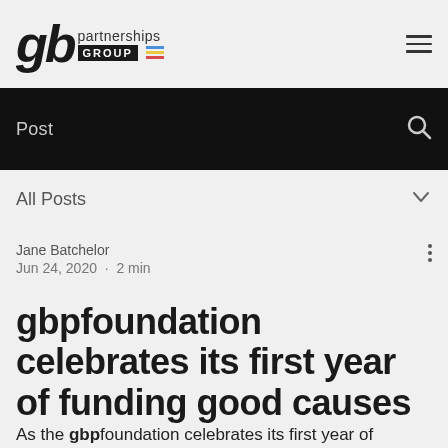gb partnerships GROUP [logo with colored stripes]
Post
All Posts
Jane Batchelor
Jun 24, 2020  ·  2 min
gbpfoundation celebrates its first year of funding good causes
As the gbpfoundation celebrates its first year of funding good causes we look back on the